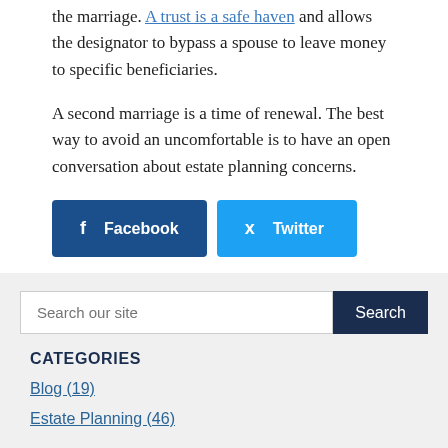the marriage. A trust is a safe haven and allows the designator to bypass a spouse to leave money to specific beneficiaries.
A second marriage is a time of renewal. The best way to avoid an uncomfortable is to have an open conversation about estate planning concerns.
[Figure (other): Social media share buttons: Facebook (dark blue), Twitter (light blue), LinkedIn (dark blue)]
[Figure (other): Search bar with placeholder 'Search our site' and a dark blue Search button]
CATEGORIES
Blog (19)
Estate Planning (46)